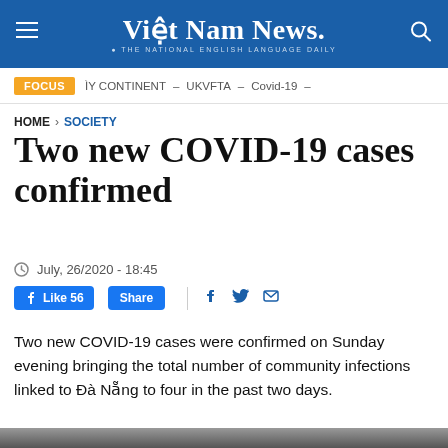Việt Nam News. THE NATIONAL ENGLISH LANGUAGE DAILY
FOCUS   ÌY CONTINENT – UKVFTA – Covid-19 –
HOME > SOCIETY
Two new COVID-19 cases confirmed
July, 26/2020 - 18:45
Like 56  Share
Two new COVID-19 cases were confirmed on Sunday evening bringing the total number of community infections linked to Đà Nẵng to four in the past two days.